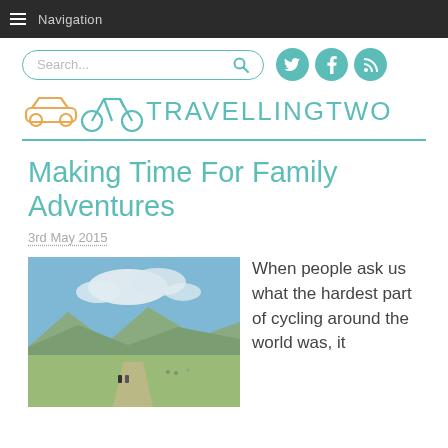Navigation
[Figure (logo): TravellingTwo blog logo with car and bicycle icons in teal/orange, search bar, and social media icons]
Making Time For Family Adventures
3rd May 2015
[Figure (photo): Landscape photo showing green plains with mountains in background and cyclists on a dirt road]
When people ask us what the hardest part of cycling around the world was, it